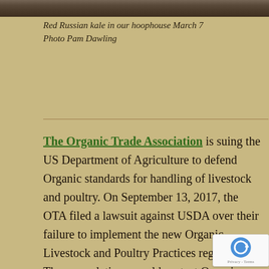[Figure (photo): Partial view of Red Russian kale growing in a hoophouse, soil and plants visible from above.]
Red Russian kale in our hoophouse March 7
Photo Pam Dawling
The Organic Trade Association is suing the US Department of Agriculture to defend Organic standards for handling of livestock and poultry. On September 13, 2017, the OTA filed a lawsuit against USDA over their failure to implement the new Organic Livestock and Poultry Practices regulation. These regulations would protect Organic integrity, advance animal welfare, and safeguard the process for developing Organic standards. USDA unlawfully delayed the effective date to implement the final livestock standards, several times over.